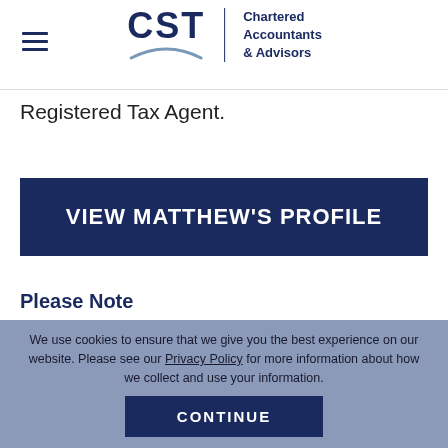CST | Chartered Accountants & Advisors
Registered Tax Agent.
VIEW MATTHEW'S PROFILE
Please Note
We use cookies to ensure that we give you the best experience on our website. Please see our Privacy Policy for more information about how we collect and use your information.
CONTINUE